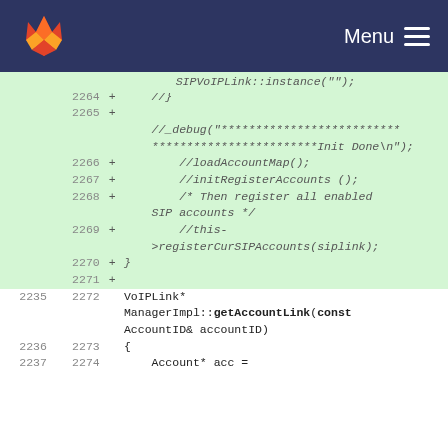Menu
[Figure (screenshot): GitLab logo (fox/wolf mark in orange/red on dark blue navigation bar with Menu text and hamburger icon)]
Code diff view showing lines 2263-2274 with added lines (+) and context lines. Added lines include: //siplink->init (); //} //_debug("**************************Init Done\n"); //loadAccountMap(); //initRegisterAccounts (); /* Then register all enabled SIP accounts */ //this->registerCurSIPAccounts(siplink); } Context lines: 2235/2272 VoIPLink* ManagerImpl::getAccountLink(const AccountID& accountID) 2236/2273 { 2237/2274 Account* acc =